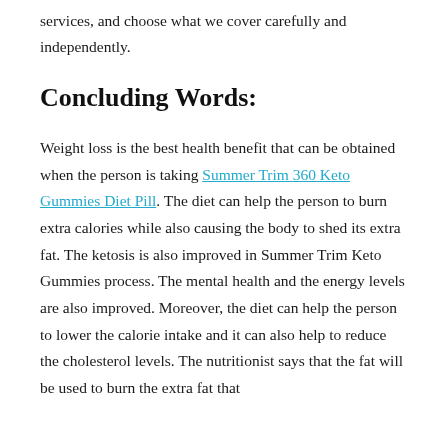services, and choose what we cover carefully and independently.
Concluding Words:
Weight loss is the best health benefit that can be obtained when the person is taking Summer Trim 360 Keto Gummies Diet Pill. The diet can help the person to burn extra calories while also causing the body to shed its extra fat. The ketosis is also improved in Summer Trim Keto Gummies process. The mental health and the energy levels are also improved. Moreover, the diet can help the person to lower the calorie intake and it can also help to reduce the cholesterol levels. The nutritionist says that the fat will be used to burn the extra fat that